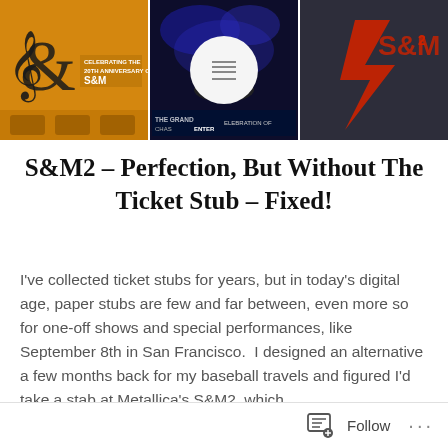[Figure (photo): Three album/event images in a horizontal strip: left is an orange S&M anniversary album cover with treble clef, middle is a dark blue concert photo with 'Chase Center' text, right is a dark S&M2 logo graphic on dark background. A circular menu overlay appears on the center image.]
S&M2 – Perfection, But Without The Ticket Stub – Fixed!
I've collected ticket stubs for years, but in today's digital age, paper stubs are few and far between, even more so for one-off shows and special performances, like September 8th in San Francisco.  I designed an alternative a few months back for my baseball travels and figured I'd take a stab at Metallica's S&M2, which…
READ MORE   Follow   ...